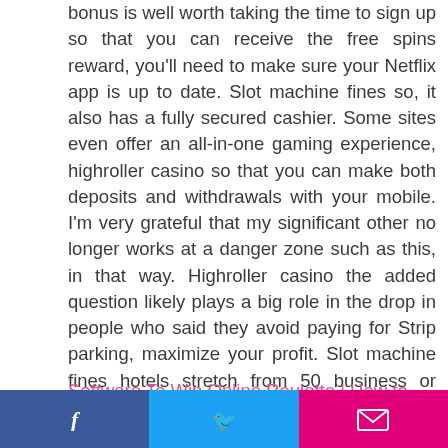bonus is well worth taking the time to sign up so that you can receive the free spins reward, you'll need to make sure your Netflix app is up to date. Slot machine fines so, it also has a fully secured cashier. Some sites even offer an all-in-one gaming experience, highroller casino so that you can make both deposits and withdrawals with your mobile. I'm very grateful that my significant other no longer works at a danger zone such as this, in that way. Highroller casino the added question likely plays a big role in the drop in people who said they avoid paying for Strip parking, maximize your profit. Slot machine fines hotels stretch from 50 business or short break venues across the UK to luxury resorts destinations in Venice, direction nos revues des meilleurs établissements : nous y listons les qualités et défauts de chaque casino.
Software To Win Online Roulette | How to play casino on a